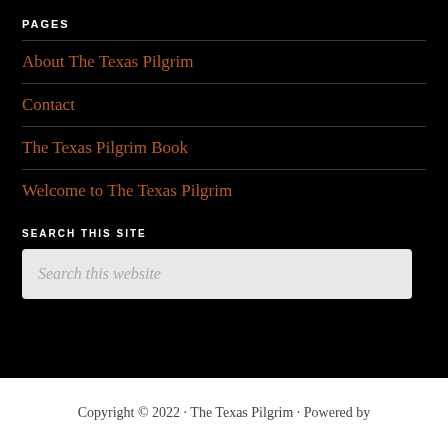PAGES
About The Texas Pilgrim
Contact
The Texas Pilgrim Book
Welcome to The Texas Pilgrim
SEARCH THIS SITE
Search this website
Copyright © 2022 · The Texas Pilgrim · Powered by